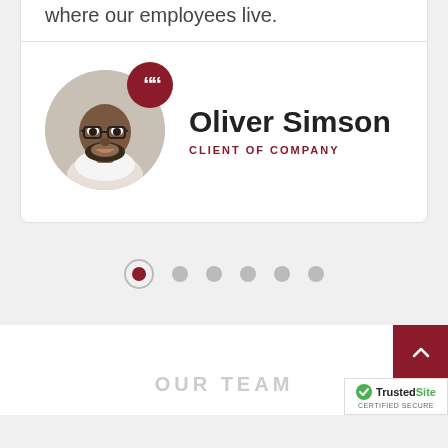where our employees live.
[Figure (photo): Profile photo of Oliver Simson, a man with glasses and beard, circular crop with dark red quotation mark badge overlay]
Oliver Simson
CLIENT OF COMPANY
[Figure (infographic): Carousel pagination dots: 6 dots, first one active (dark red filled circle inside larger outlined circle), rest are small grey dots]
OUR TEAM
[Figure (logo): TrustedSite Certified Secure badge with green checkmark]